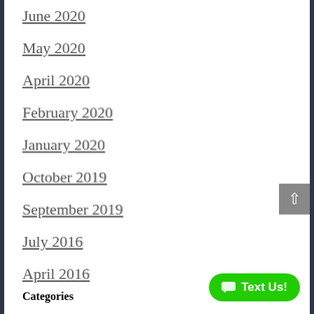June 2020
May 2020
April 2020
February 2020
January 2020
October 2019
September 2019
July 2016
April 2016
Categories
Auto Accident Attorney
Firm News